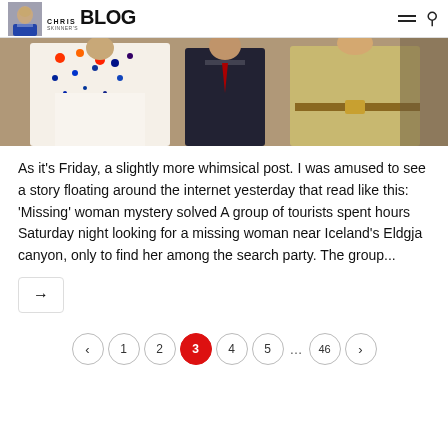Chris Skinner's Blog
[Figure (photo): A person in an ornate white bejeweled costume (resembling Elvis), a person in a dark suit in the center, and another person on the right in a light tan/gold outfit]
As it's Friday, a slightly more whimsical post. I was amused to see a story floating around the internet yesterday that read like this: 'Missing' woman mystery solved A group of tourists spent hours Saturday night looking for a missing woman near Iceland's Eldgja canyon, only to find her among the search party. The group...
→
< 1 2 3 4 5 ... 46 >